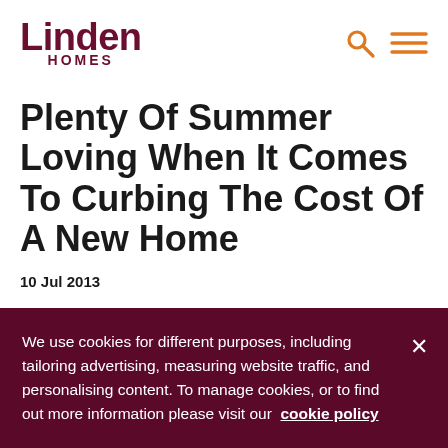Linden HOMES
Plenty Of Summer Loving When It Comes To Curbing The Cost Of A New Home
10 Jul 2013
FIRST time buyers, existing homeowners or those looking to
We use cookies for different purposes, including tailoring advertising, measuring website traffic, and personalising content. To manage cookies, or to find out more information please visit our cookie policy